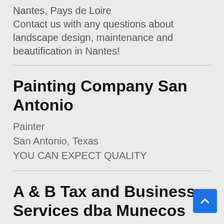Nantes, Pays de Loire
Contact us with any questions about landscape design, maintenance and beautification in Nantes!
Painting Company San Antonio
Painter
San Antonio, Texas
YOU CAN EXPECT QUALITY
A & B Tax and Business Services dba Munecos Tax and Business Services